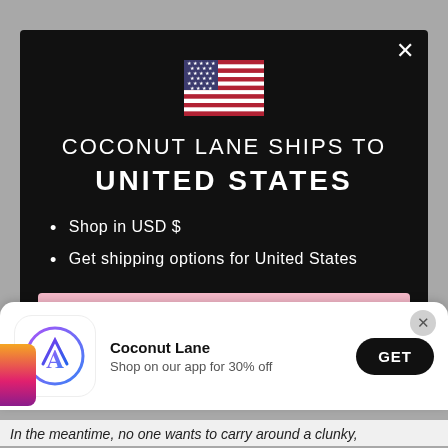[Figure (screenshot): US flag emoji displayed in center of modal]
COCONUT LANE SHIPS TO UNITED STATES
Shop in USD $
Get shipping options for United States
Shop now
[Figure (screenshot): App store banner: Coconut Lane app icon with App Store logo, text 'Coconut Lane - Shop on our app for 30% off', GET button]
In the meantime, no one wants to carry around a clunky,